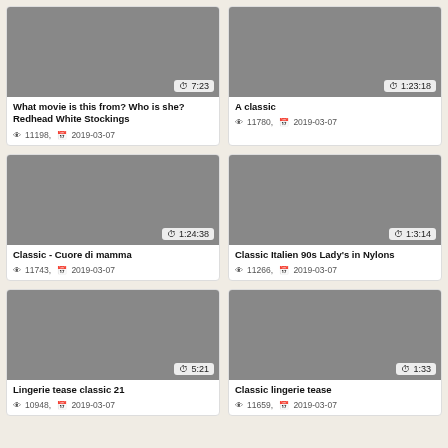[Figure (screenshot): Thumbnail for video: What movie is this from? Who is she? Redhead White Stockings, duration 7:23]
What movie is this from? Who is she? Redhead White Stockings
👁 11198, 📅 2019-03-07
[Figure (screenshot): Thumbnail for video: A classic, duration 1:23:18]
A classic
👁 11780, 📅 2019-03-07
[Figure (screenshot): Thumbnail for video: Classic - Cuore di mamma, duration 1:24:38]
Classic - Cuore di mamma
👁 11743, 📅 2019-03-07
[Figure (screenshot): Thumbnail for video: Classic Italien 90s Lady's in Nylons, duration 1:3:14]
Classic Italien 90s Lady's in Nylons
👁 11266, 📅 2019-03-07
[Figure (screenshot): Thumbnail for video: Lingerie tease classic 21, duration 5:21]
Lingerie tease classic 21
👁 10948, 📅 2019-03-07
[Figure (screenshot): Thumbnail for video: Classic lingerie tease, duration 1:33]
Classic lingerie tease
👁 11659, 📅 2019-03-07